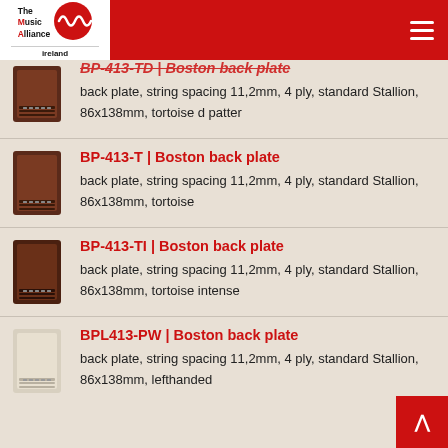The Music Alliance ireland
BP-413-TD | Boston back plate — back plate, string spacing 11,2mm, 4 ply, standard Stallion, 86x138mm, tortoise d patter
BP-413-T | Boston back plate — back plate, string spacing 11,2mm, 4 ply, standard Stallion, 86x138mm, tortoise
BP-413-TI | Boston back plate — back plate, string spacing 11,2mm, 4 ply, standard Stallion, 86x138mm, tortoise intense
BPL413-PW | Boston back plate — back plate, string spacing 11,2mm, 4 ply, standard Stallion, 86x138mm, lefthanded